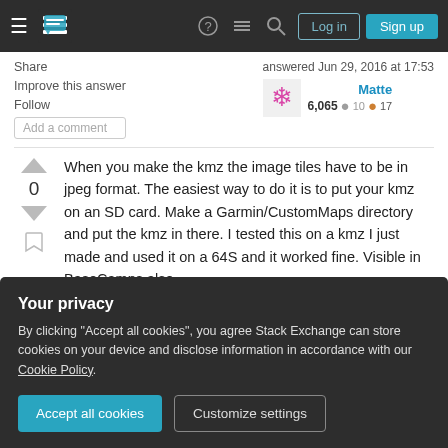Stack Exchange navigation bar with Log in and Sign up buttons
Share  Improve this answer  Follow  Add a comment
answered Jun 29, 2016 at 17:53  Matte  6,065  10  17
When you make the kmz the image tiles have to be in jpeg format. The easiest way to do it is to put your kmz on an SD card. Make a Garmin/CustomMaps directory and put the kmz in there. I tested this on a kmz I just made and used it on a 64S and it worked fine. Visible in BaseCamps also.
Your privacy
By clicking "Accept all cookies", you agree Stack Exchange can store cookies on your device and disclose information in accordance with our Cookie Policy.
Accept all cookies  Customize settings